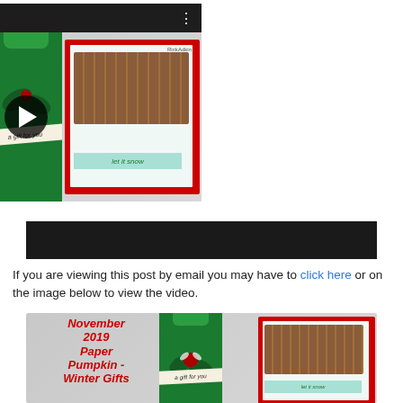[Figure (screenshot): YouTube video thumbnail showing 'November Paper Pump...' with play button, title bar with avatar, and Christmas craft projects (green gift bag and red sled card). Below the thumbnail is a black bar.]
If you are viewing this post by email you may have to click here or on the image below to view the video.
[Figure (photo): Promotional image for November 2019 Paper Pumpkin - Winter Gifts crafting kit showing a green gift bag and a red-framed card with a sled design and 'let it snow' banner.]